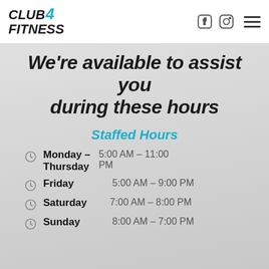Club 4 Fitness — navigation bar with logo, Facebook and Instagram icons, and hamburger menu
We're available to assist you during these hours
Staffed Hours
Monday - Thursday   5:00 AM - 11:00 PM
Friday   5:00 AM - 9:00 PM
Saturday   7:00 AM - 8:00 PM
Sunday   8:00 AM - 7:00 PM